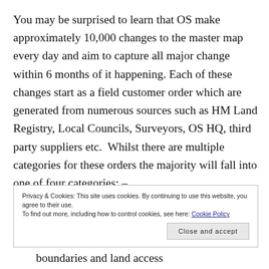You may be surprised to learn that OS make approximately 10,000 changes to the master map every day and aim to capture all major change within 6 months of it happening. Each of these changes start as a field customer order which are generated from numerous sources such as HM Land Registry, Local Councils, Surveyors, OS HQ, third party suppliers etc. Whilst there are multiple categories for these orders the majority will fall into one of four categories: –
Privacy & Cookies: This site uses cookies. By continuing to use this website, you agree to their use.
To find out more, including how to control cookies, see here: Cookie Policy
boundaries and land access